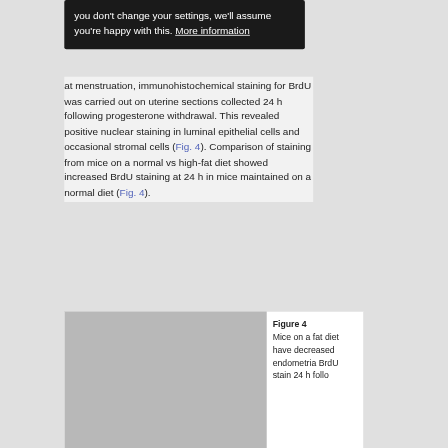you don't change your settings, we'll assume you're happy with this. More information
at menstruation, immunohistochemical staining for BrdU was carried out on uterine sections collected 24 h following progesterone withdrawal. This revealed positive nuclear staining in luminal epithelial cells and occasional stromal cells (Fig. 4). Comparison of staining from mice on a normal vs high-fat diet showed increased BrdU staining at 24 h in mice maintained on a normal diet (Fig. 4).
[Figure (photo): Histological/immunohistochemical image panel showing BrdU staining in uterine sections]
Figure 4
Mice on a fat diet have decreased endometrial BrdU staining 24 h follow...